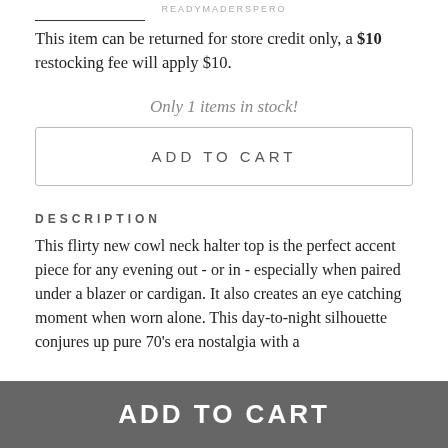READYMADERSPERO
This item can be returned for store credit only, a $10 restocking fee will apply $10.
Only 1 items in stock!
ADD TO CART
DESCRIPTION
This flirty new cowl neck halter top is the perfect accent piece for any evening out - or in - especially when paired under a blazer or cardigan. It also creates an eye catching moment when worn alone. This day-to-night silhouette conjures up pure 70's era nostalgia with a
ADD TO CART